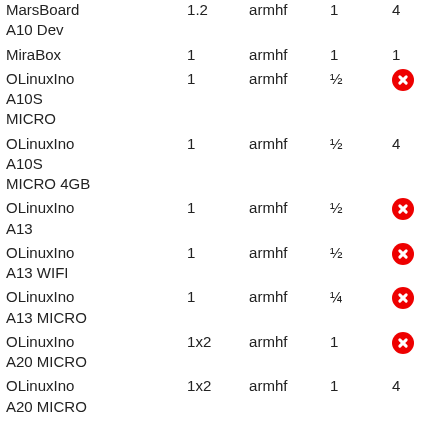| Name | Cores | Arch | RAM (GB) | USB |
| --- | --- | --- | --- | --- |
| MarsBoard A10 Dev | 1.2 | armhf | 1 | 4 |
| MiraBox | 1 | armhf | 1 | 1 |
| OLinuxIno A10S MICRO | 1 | armhf | ½ | ✗ |
| OLinuxIno A10S MICRO 4GB | 1 | armhf | ½ | 4 |
| OLinuxIno A13 | 1 | armhf | ½ | ✗ |
| OLinuxIno A13 WIFI | 1 | armhf | ½ | ✗ |
| OLinuxIno A13 MICRO | 1 | armhf | ¼ | ✗ |
| OLinuxIno A20 MICRO | 1x2 | armhf | 1 | ✗ |
| OLinuxIno A20 MICRO | 1x2 | armhf | 1 | 4 |